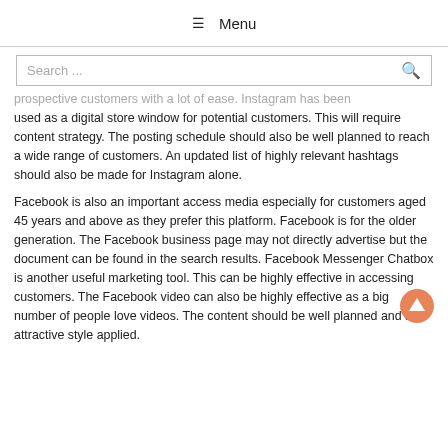☰ Menu
Search ...
prospective customers with a lot of ease. Instagram has been used as a digital store window for potential customers. This will require content strategy. The posting schedule should also be well planned to reach a wide range of customers. An updated list of highly relevant hashtags should also be made for Instagram alone.
Facebook is also an important access media especially for customers aged 45 years and above as they prefer this platform. Facebook is for the older generation. The Facebook business page may not directly advertise but the document can be found in the search results. Facebook Messenger Chatbox is another useful marketing tool. This can be highly effective in accessing customers. The Facebook video can also be highly effective as a big number of people love videos. The content should be well planned and an attractive style applied.